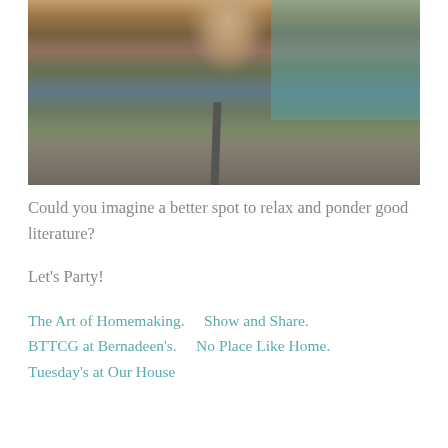[Figure (photo): A child sitting on a red chair with sparkly shoes on a patterned carpet, teal wall visible in background]
Could you imagine a better spot to relax and ponder good literature?
Let's Party!
The Art of Homemaking.    Show and Share.
BTTCG at Bernadeen's.    No Place Like Home.
Tuesday's at Our House